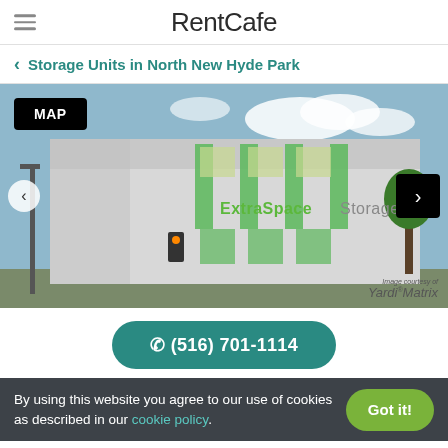RentCafe
Storage Units in North New Hyde Park
[Figure (photo): Exterior photo of an ExtraSpace Storage building with a MAP button overlay and navigation arrows. Image courtesy of Yardi Matrix.]
(516) 701-1114
By using this website you agree to our use of cookies as described in our cookie policy.